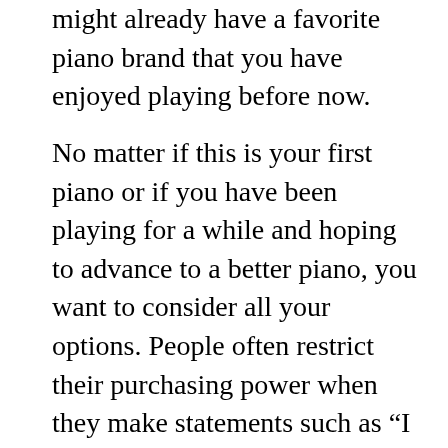might already have a favorite piano brand that you have enjoyed playing before now.
No matter if this is your first piano or if you have been playing for a while and hoping to advance to a better piano, you want to consider all your options. People often restrict their purchasing power when they make statements such as “I will not buy a piano unless it is a ___.” Or “I think the ___ makes the best pianos.”
When you look at all the pianos on the market, each brand will have some advantages and disadvantages. The different brand excels in certain qualities. Also, all pianists are not